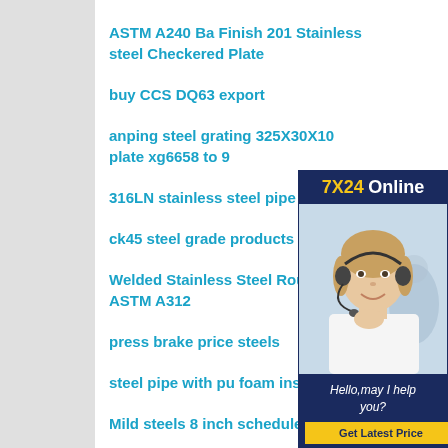ASTM A240 Ba Finish 201 Stainless steel Checkered Plate
buy CCS DQ63 export
anping steel grating 325X30X10 plate xg6658 to 9
316LN stainless steel pipe tube
ck45 steel grade products
Welded Stainless Steel Round ASTM A312
press brake price steels
steel pipe with pu foam insulated
Mild steels 8 inch schedule 40 steel
[Figure (photo): Customer service representative advertisement with '7X24 Online' header, photo of woman with headset, 'Hello, may I help you?' text and 'Get Latest Price' button]